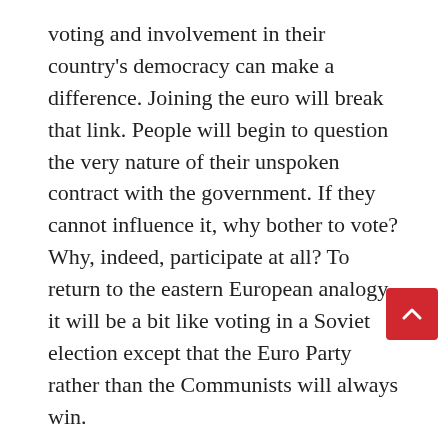voting and involvement in their country's democracy can make a difference. Joining the euro will break that link. People will begin to question the very nature of their unspoken contract with the government. If they cannot influence it, why bother to vote? Why, indeed, participate at all? To return to the eastern European analogy, it will be a bit like voting in a Soviet election except that the Euro Party rather than the Communists will always win.
So, the two planks of my opposition to the euro – democracy and economics – are intrinsically linked. Democracy, barely a century old in much of Europe, is a fragile flower that needs careful nurturing and cannot be nurtured in a pan-European institution. The...